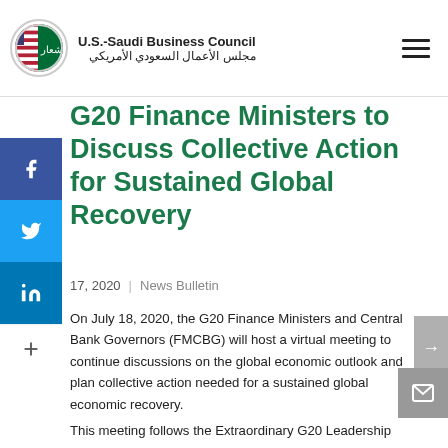U.S.-Saudi Business Council / مجلس الأعمال السعودي الأمريكي
G20 Finance Ministers to Discuss Collective Action for Sustained Global Recovery
17, 2020 | News Bulletin
On July 18, 2020, the G20 Finance Ministers and Central Bank Governors (FMCBG) will host a virtual meeting to continue discussions on the global economic outlook and plan collective action needed for a sustained global economic recovery.
This meeting follows the Extraordinary G20 Leadership